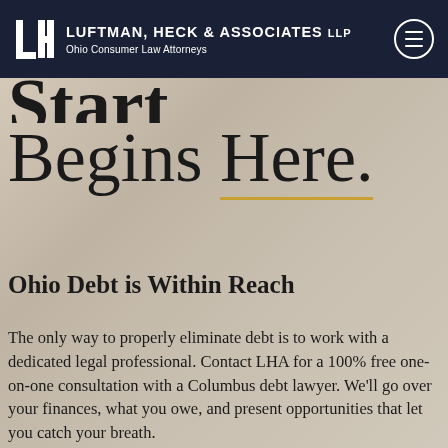Luftman, Heck & Associates LLP — Ohio Consumer Law Attorneys
Begins Here.
Ohio Debt is Within Reach
The only way to properly eliminate debt is to work with a dedicated legal professional. Contact LHA for a 100% free one-on-one consultation with a Columbus debt lawyer. We'll go over your finances, what you owe, and present opportunities that let you catch your breath.